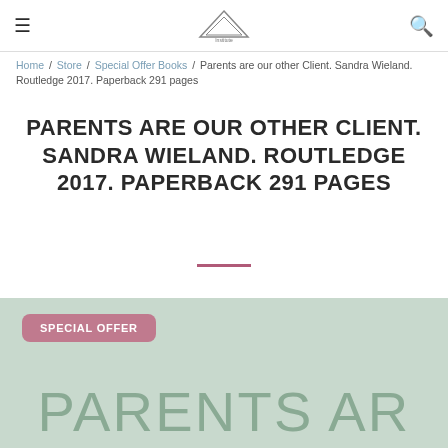≡  [logo]  🔍
Home / Store / Special Offer Books / Parents are our other Client. Sandra Wieland. Routledge 2017. Paperback 291 pages
PARENTS ARE OUR OTHER CLIENT. SANDRA WIELAND. ROUTLEDGE 2017. PAPERBACK 291 PAGES
[Figure (other): Book cover image partially visible showing 'PARENTS AR' in large green text on a light green background, with a 'SPECIAL OFFER' badge in mauve/pink at top left]